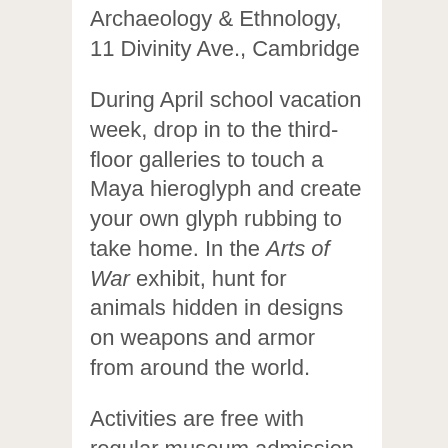Archaeology & Ethnology, 11 Divinity Ave., Cambridge
During April school vacation week, drop in to the third-floor galleries to touch a Maya hieroglyph and create your own glyph rubbing to take home. In the Arts of War exhibit, hunt for animals hidden in designs on weapons and armor from around the world.
Activities are free with regular museum admission. Self-guided activities change daily.
Admission is free for Members, at...